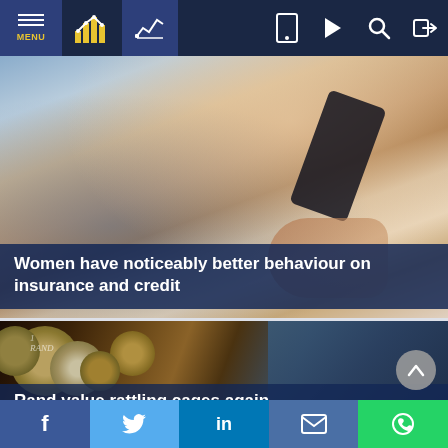MENU | [bar chart icon] | [line chart icon] | [tablet icon] | [play icon] | [search icon] | [login icon]
[Figure (photo): Person holding a smartphone outdoors with blurred background, warm tones]
Women have noticeably better behaviour on insurance and credit
[Figure (photo): Pile of South African Rand coins filling the frame, dark background]
Rand value rattling cages again
f | y | in | [email icon] | [whatsapp icon]